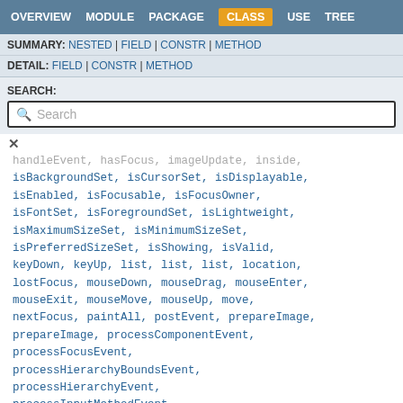OVERVIEW  MODULE  PACKAGE  CLASS  USE  TREE
SUMMARY: NESTED | FIELD | CONSTR | METHOD
DETAIL: FIELD | CONSTR | METHOD
SEARCH:
Search
handleEvent, hasFocus, imageUpdate, inside, isBackgroundSet, isCursorSet, isDisplayable, isEnabled, isFocusable, isFocusOwner, isFontSet, isForegroundSet, isLightweight, isMaximumSizeSet, isMinimumSizeSet, isPreferredSizeSet, isShowing, isValid, keyDown, keyUp, list, list, list, location, lostFocus, mouseDown, mouseDrag, mouseEnter, mouseExit, mouseMove, mouseUp, move, nextFocus, paintAll, postEvent, prepareImage, prepareImage, processComponentEvent, processFocusEvent, processHierarchyBoundsEvent, processHierarchyEvent, processInputMethodEvent,